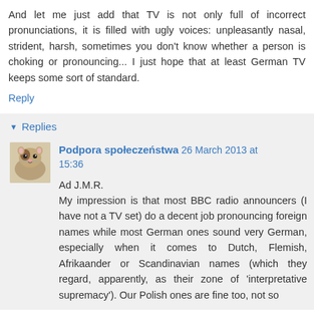And let me just add that TV is not only full of incorrect pronunciations, it is filled with ugly voices: unpleasantly nasal, strident, harsh, sometimes you don't know whether a person is choking or pronouncing... I just hope that at least German TV keeps some sort of standard.
Reply
Replies
Podpora społeczeństwa  26 March 2013 at 15:36
Ad J.M.R.
My impression is that most BBC radio announcers (I have not a TV set) do a decent job pronouncing foreign names while most German ones sound very German, especially when it comes to Dutch, Flemish, Afrikaander or Scandinavian names (which they regard, apparently, as their zone of 'interpretative supremacy'). Our Polish ones are fine too, not so